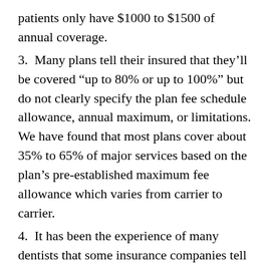patients only have $1000 to $1500 of annual coverage.
3. Many plans tell their insured that they'll be covered “up to 80% or up to 100%” but do not clearly specify the plan fee schedule allowance, annual maximum, or limitations. We have found that most plans cover about 35% to 65% of major services based on the plan’s pre-established maximum fee allowance which varies from carrier to carrier.
4. It has been the experience of many dentists that some insurance companies tell their insured that dentist’s fees are “above the usual and customary fees” rather than saying “our benefits are low”. The amount your plan pays is determined by how much your